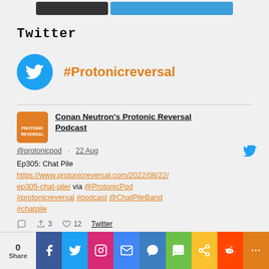[Figure (screenshot): Two buttons at top: dark button and blue button]
Twitter
#Protonicreversal
Conan Neutron's Protonic Reversal Podcast @protonicpod · 22 Aug Ep305: Chat Pile https://www.protonicreversal.com/2022/08/22/ep305-chat-pile/ via @ProtonicPod #protonicreversal #podcast @ChatPileBand #chatpile
[Figure (screenshot): Social share bar with Facebook, Twitter, Instagram, Email, Messenger, SMS, Copy, Reddit, More buttons]